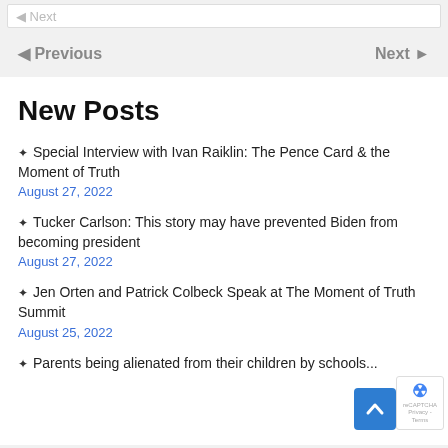◄ Prev
◄ Previous    Next ►
New Posts
Special Interview with Ivan Raiklin: The Pence Card & the Moment of Truth
August 27, 2022
Tucker Carlson: This story may have prevented Biden from becoming president
August 27, 2022
Jen Orten and Patrick Colbeck Speak at The Moment of Truth Summit
August 25, 2022
Parents being alienated from their children by schools...
August 25, 2022